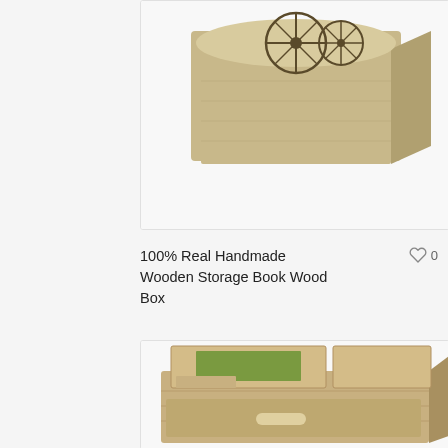[Figure (photo): Wooden storage box with carved wheel/wagon wheel motif on the lid, light natural wood color, shown against white background, partially cropped at top of page.]
100% Real Handmade Wooden Storage Book Wood Box
♡ 0
[Figure (photo): Open wooden storage box with multiple compartments, one compartment contains green moss/matcha powder, other small wooden trays and containers visible inside, white leather pull handle on front drawer, on small wooden feet, natural light-colored wood grain.]